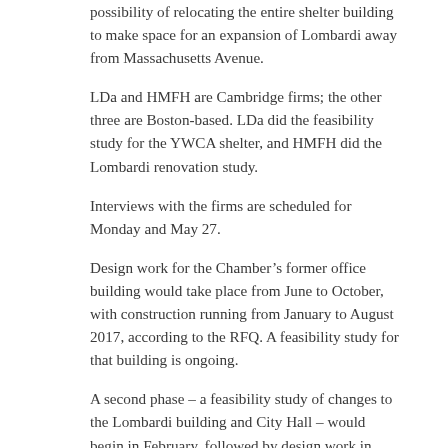possibility of relocating the entire shelter building to make space for an expansion of Lombardi away from Massachusetts Avenue.
LDa and HMFH are Cambridge firms; the other three are Boston-based. LDa did the feasibility study for the YWCA shelter, and HMFH did the Lombardi renovation study.
Interviews with the firms are scheduled for Monday and May 27.
Design work for the Chamber’s former office building would take place from June to October, with construction running from January to August 2017, according to the RFQ. A feasibility study for that building is ongoing.
A second phase – a feasibility study of changes to the Lombardi building and City Hall – would begin in February, followed by design work in October 2017 through July 2018, with a target of substantial completion by September 2020.